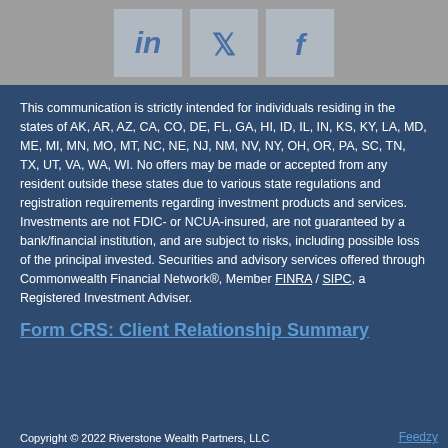[Figure (other): Social media icon buttons for LinkedIn, Twitter, and Facebook on a gray bar]
This communication is strictly intended for individuals residing in the states of AK, AR, AZ, CA, CO, DE, FL, GA, HI, ID, IL, IN, KS, KY, LA, MD, ME, MI, MN, MO, MT, NC, NE, NJ, NM, NV, NY, OH, OR, PA, SC, TN, TX, UT, VA, WA, WI. No offers may be made or accepted from any resident outside these states due to various state regulations and registration requirements regarding investment products and services. Investments are not FDIC- or NCUA-insured, are not guaranteed by a bank/financial institution, and are subject to risks, including possible loss of the principal invested. Securities and advisory services offered through Commonwealth Financial Network®, Member FINRA / SIPC, a Registered Investment Adviser.
Form CRS: Client Relationship Summary
Feedzy
Copyright © 2022 Riverstone Wealth Partners, LLC